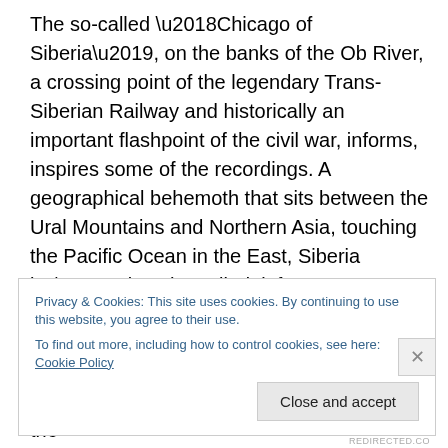The so-called ‘Chicago of Siberia’, on the banks of the Ob River, a crossing point of the legendary Trans-Siberian Railway and historically an important flashpoint of the civil war, informs, inspires some of the recordings. A geographical behemoth that sits between the Ural Mountains and Northern Asia, touching the Pacific Ocean in the East, Siberia isn’t just the exiled, infamous hardened remote atelier of literature, art and politics but a beautifully diverse landscape; the Eurasian melting pot as it were. Mirroring that diversity, Misha’s music travels to the
Privacy & Cookies: This site uses cookies. By continuing to use this website, you agree to their use.
To find out more, including how to control cookies, see here: Cookie Policy